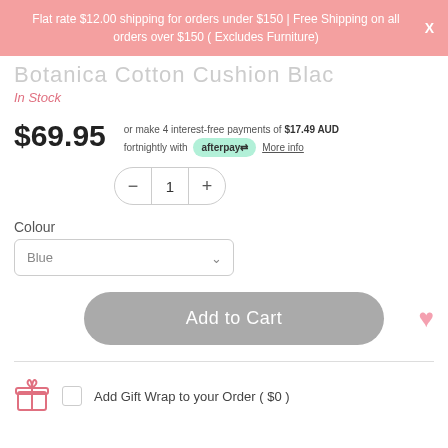Flat rate $12.00 shipping for orders under $150 | Free Shipping on all orders over $150 ( Excludes Furniture)
Botanica Cotton Cushion Blac
In Stock
$69.95
or make 4 interest-free payments of $17.49 AUD fortnightly with afterpay More info
1
Colour
Blue
Add to Cart
Add Gift Wrap to your Order ( $0 )